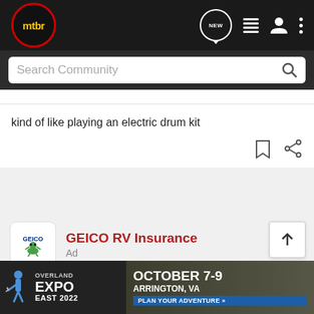mtbr — navigation bar with NEW, list, user, and menu icons
Search Community
kind of like playing an electric drum kit
[Figure (screenshot): Bookmark and share icons]
[Figure (logo): GEICO logo in white rounded square box]
GEICO RV Insurance
Ad
GEICO offers affordable RV insurance with great coverage for your needs
Get an RV insurance quote. Save today. Vacation tomorrow.
Make su... insurance...
[Figure (infographic): Overland Expo East 2022 banner ad: OCTOBER 7-9, ARRINGTON, VA, PLAN YOUR ADVENTURE]